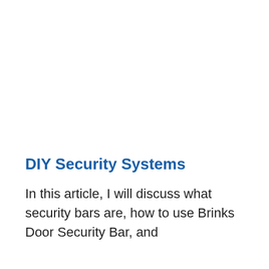DIY Security Systems
In this article, I will discuss what security bars are, how to use Brinks Door Security Bar, and